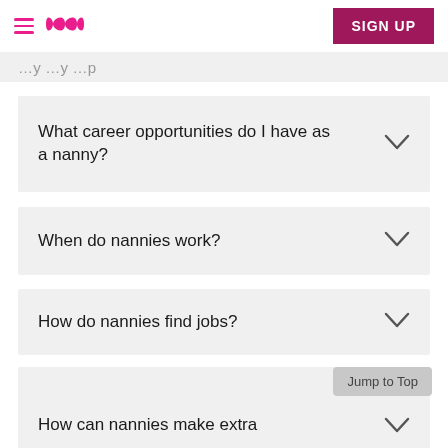SIGN UP
What career opportunities do I have as a nanny?
When do nannies work?
How do nannies find jobs?
What are things nannies do with kids?
How can nannies make extra